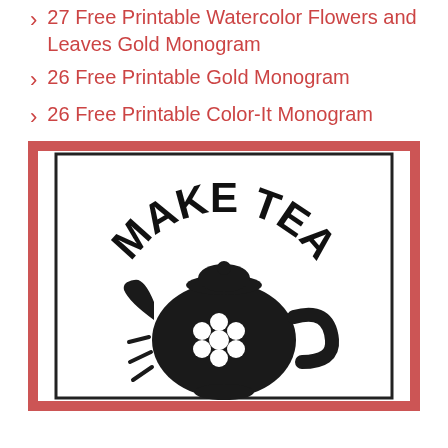27 Free Printable Watercolor Flowers and Leaves Gold Monogram
26 Free Printable Gold Monogram
26 Free Printable Color-It Monogram
[Figure (illustration): A decorative framed image with a salmon/red border containing a black and white illustration of a teapot with 'MAKE TEA' text curved above it. The teapot has a flower design on it with radiating lines suggesting steam or energy.]